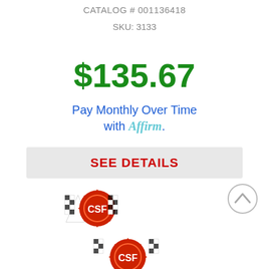CATALOG # 001136418
SKU: 3133
$135.67
Pay Monthly Over Time with Affirm.
SEE DETAILS
[Figure (logo): CSF racing logo with checkered flags]
[Figure (other): Scroll-up arrow button circle]
[Figure (logo): CSF racing logo with checkered flags (partial, bottom)]